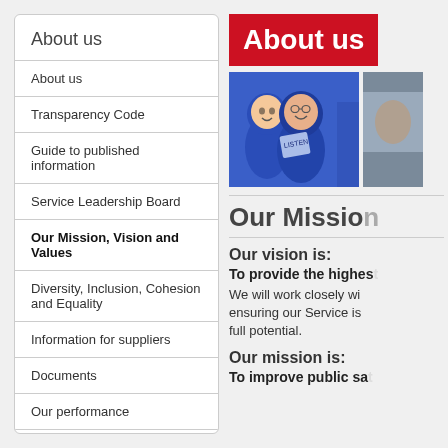About us
About us
Transparency Code
Guide to published information
Service Leadership Board
Our Mission, Vision and Values
Diversity, Inclusion, Cohesion and Equality
Information for suppliers
Documents
Our performance
Charity
Our history
[Figure (photo): Banner with red background reading 'About us' in white text, with a photo of people dressed in blue costumes holding leaflets, and a partial view of another person]
Our Mission, Vision and Values
Our vision is:
To provide the highest...
We will work closely with... ensuring our Service is... full potential.
Our mission is:
To improve public sa...